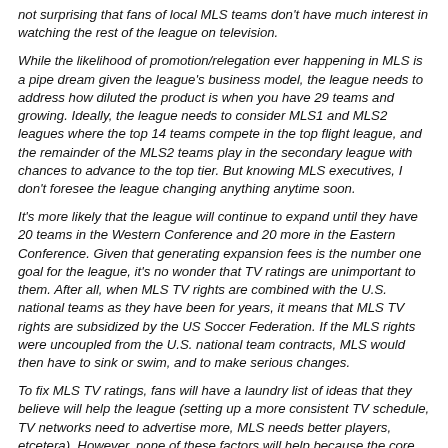not surprising that fans of local MLS teams don't have much interest in watching the rest of the league on television.
While the likelihood of promotion/relegation ever happening in MLS is a pipe dream given the league's business model, the league needs to address how diluted the product is when you have 29 teams and growing. Ideally, the league needs to consider MLS1 and MLS2 leagues where the top 14 teams compete in the top flight league, and the remainder of the MLS2 teams play in the secondary league with chances to advance to the top tier. But knowing MLS executives, I don't foresee the league changing anything anytime soon.
It's more likely that the league will continue to expand until they have 20 teams in the Western Conference and 20 more in the Eastern Conference. Given that generating expansion fees is the number one goal for the league, it's no wonder that TV ratings are unimportant to them. After all, when MLS TV rights are combined with the U.S. national teams as they have been for years, it means that MLS TV rights are subsidized by the US Soccer Federation. If the MLS rights were uncoupled from the U.S. national team contracts, MLS would then have to sink or swim, and to make serious changes.
To fix MLS TV ratings, fans will have a laundry list of ideas that they believe will help the league (setting up a more consistent TV schedule, TV networks need to advertise more, MLS needs better players, etcetera). However, none of these factors will help because the core structure of Major League